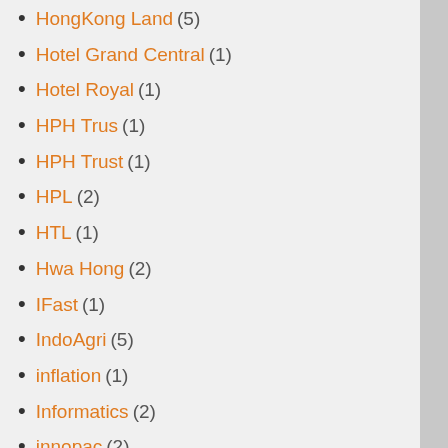HongKong Land (5)
Hotel Grand Central (1)
Hotel Royal (1)
HPH Trus (1)
HPH Trust (1)
HPL (2)
HTL (1)
Hwa Hong (2)
IFast (1)
IndoAgri (5)
inflation (1)
Informatics (2)
innopac (2)
interest rate (1)
interra (6)
intraday trading (1)
Investment talk (3)
IPC Corp (3)
IPCO (1)